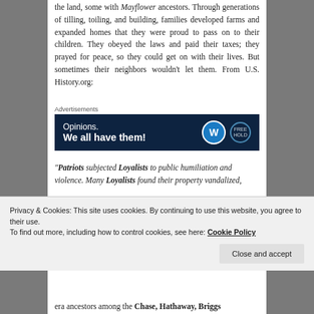the land, some with Mayflower ancestors. Through generations of tilling, toiling, and building, families developed farms and expanded homes that they were proud to pass on to their children. They obeyed the laws and paid their taxes; they prayed for peace, so they could get on with their lives. But sometimes their neighbors wouldn't let them. From U.S. History.org:
Advertisements
[Figure (screenshot): Dark navy advertisement banner with text 'Opinions. We all have them!' and WordPress and related logos on the right.]
“Patriots subjected Loyalists to public humiliation and violence. Many Loyalists found their property vandalized,
Privacy & Cookies: This site uses cookies. By continuing to use this website, you agree to their use.
To find out more, including how to control cookies, see here: Cookie Policy
era ancestors among the Chase, Hathaway, Briggs